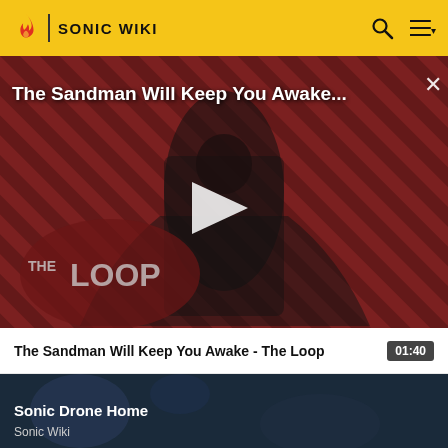SONIC WIKI
[Figure (screenshot): Video thumbnail for 'The Sandman Will Keep You Awake - The Loop' showing a dark figure in black cape with raven on a red and black striped background with THE LOOP logo. A play button is visible in the center.]
The Sandman Will Keep You Awake - The Loop  01:40
[Figure (screenshot): Video thumbnail for 'Sonic Drone Home' showing a dark blue toned scene with a figure, Sonic Wiki label below.]